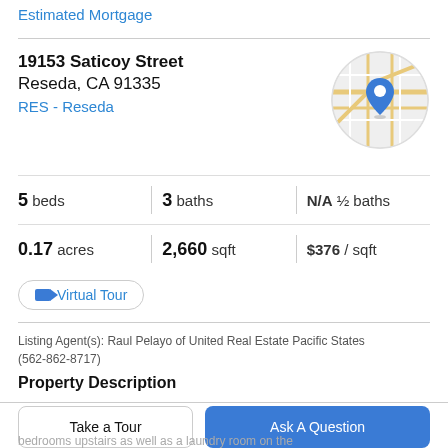Estimated Mortgage
19153 Saticoy Street
Reseda, CA 91335
RES - Reseda
[Figure (map): Circular map thumbnail showing street map with blue location pin marker for 19153 Saticoy Street, Reseda, CA]
5 beds   3 baths   N/A ½ baths   0.17 acres   2,660 sqft   $376 / sqft
Virtual Tour
Listing Agent(s): Raul Pelayo of United Real Estate Pacific States (562-862-8717)
Property Description
Take a Tour
Ask A Question